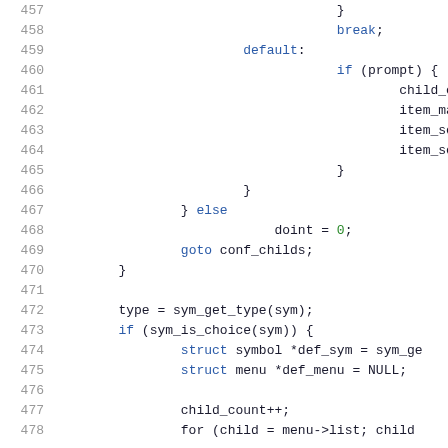[Figure (screenshot): Source code listing showing lines 457-478 of a C program, with line numbers on the left in grey and code on the right. Keywords are in blue (struct, goto, break, default, else, if), numeric literals in green (0), and other code in dark/black. The code shows a switch-case default block with prompt handling, followed by doint assignment, goto statement, and sym_get_type/sym_is_choice logic.]